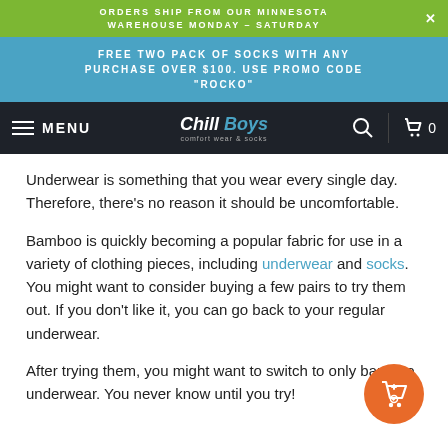ORDERS SHIP FROM OUR MINNESOTA WAREHOUSE MONDAY – SATURDAY
FREE TWO PACK OF SOCKS WITH ANY PURCHASE OVER $100. USE PROMO CODE "ROCKO"
MENU | Chill Boys | 🔍 | 🛒 0
Underwear is something that you wear every single day. Therefore, there's no reason it should be uncomfortable.
Bamboo is quickly becoming a popular fabric for use in a variety of clothing pieces, including underwear and socks. You might want to consider buying a few pairs to try them out. If you don't like it, you can go back to your regular underwear.
After trying them, you might want to switch to only bamboo underwear. You never know until you try!